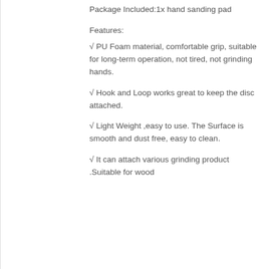Package Included:1x hand sanding pad
Features:
√ PU Foam material, comfortable grip, suitable for long-term operation, not tired, not grinding hands.
√ Hook and Loop works great to keep the disc attached.
√ Light Weight ,easy to use. The Surface is smooth and dust free, easy to clean.
√ It can attach various grinding product .Suitable for wood